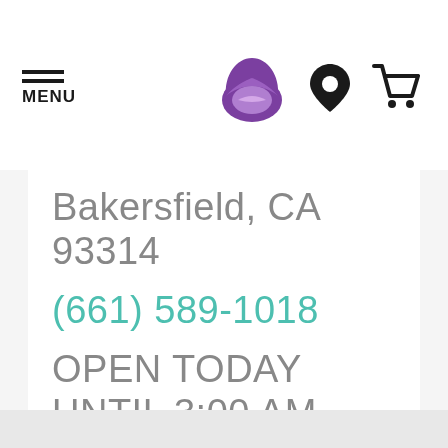[Figure (screenshot): Taco Bell website header with hamburger menu, Taco Bell logo, location pin icon, and shopping cart icon]
Bakersfield, CA 93314
(661) 589-1018
OPEN TODAY UNTIL 3:00 AM